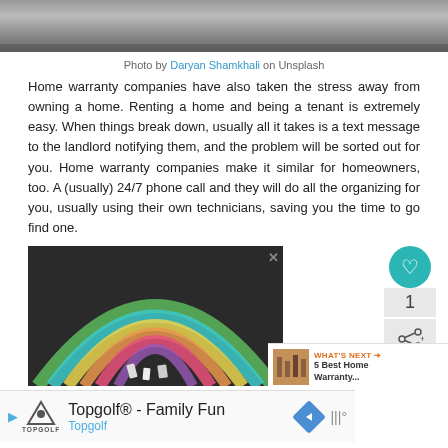[Figure (photo): Top portion of a photo, appears to be a road or pavement surface, dark grey tones]
Photo by Daryan Shamkhali on Unsplash
Home warranty companies have also taken the stress away from owning a home. Renting a home and being a tenant is extremely easy. When things break down, usually all it takes is a text message to the landlord notifying them, and the problem will be sorted out for you. Home warranty companies make it similar for homeowners, too. A (usually) 24/7 phone call and they will do all the organizing for you, usually using their own technicians, saving you the time to go find one.
[Figure (photo): Chalk rainbow drawn on dark asphalt pavement, colorful chalk drawing with multiple arcs in green, teal, yellow, orange, red/pink, with chalk pieces visible at bottom]
[Figure (screenshot): Advertisement banner: Topgolf - Family Fun, Topgolf logo and navigation arrow icon, with weather widget partially visible]